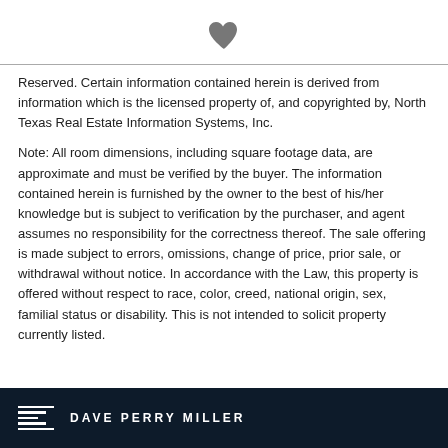[Figure (illustration): Heart icon centered at top of page]
Reserved. Certain information contained herein is derived from information which is the licensed property of, and copyrighted by, North Texas Real Estate Information Systems, Inc.
Note: All room dimensions, including square footage data, are approximate and must be verified by the buyer. The information contained herein is furnished by the owner to the best of his/her knowledge but is subject to verification by the purchaser, and agent assumes no responsibility for the correctness thereof. The sale offering is made subject to errors, omissions, change of price, prior sale, or withdrawal without notice. In accordance with the Law, this property is offered without respect to race, color, creed, national origin, sex, familial status or disability. This is not intended to solicit property currently listed.
DAVE PERRY MILLER